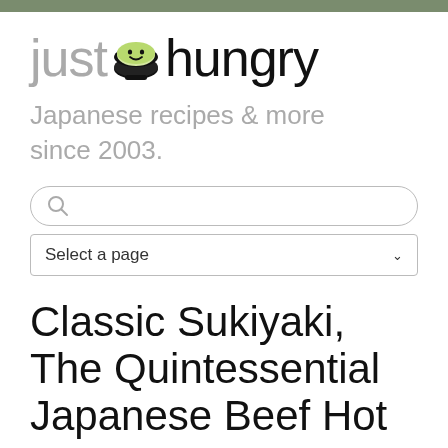[Figure (logo): just hungry logo with green rice bowl emoji between 'just' and 'hungry']
Japanese recipes & more since 2003.
[Figure (other): Search bar with magnifying glass icon]
[Figure (other): Select a page dropdown]
Classic Sukiyaki, The Quintessential Japanese Beef Hot Pot